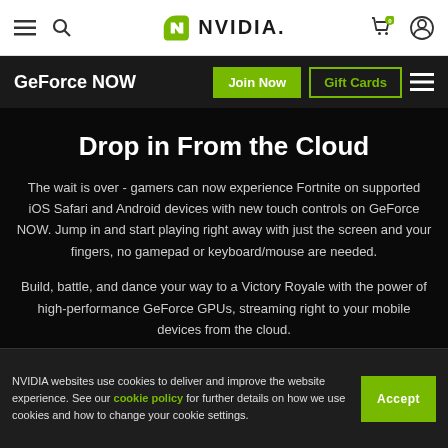NVIDIA navigation bar with hamburger menu, search icon, NVIDIA logo, cart icon, and user icon
GeForce NOW | Join Now | Gift Cards
Drop in From the Cloud
The wait is over - gamers can now experience Fortnite on supported iOS Safari and Android devices with new touch controls on GeForce NOW. Jump in and start playing right away with just the screen and your fingers, no gamepad or keyboard/mouse are needed.
Build, battle, and dance your way to a Victory Royale with the power of high-performance GeForce GPUs, streaming right to your mobile devices from the cloud.
NVIDIA websites use cookies to deliver and improve the website experience. See our cookie policy for further details on how we use cookies and how to change your cookie settings. Accept